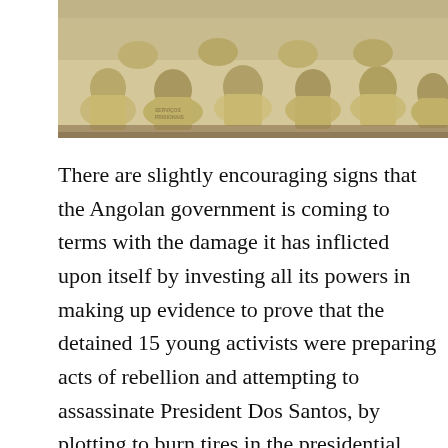[Figure (photo): Photograph showing the backs of people wearing tan/khaki uniforms with text 'SERVIÇOS PRISIONAIS' seated in rows, likely a courtroom scene.]
There are slightly encouraging signs that the Angolan government is coming to terms with the damage it has inflicted upon itself by investing all its powers in making up evidence to prove that the detained 15 young activists were preparing acts of rebellion and attempting to assassinate President Dos Santos, by plotting to burn tires in the presidential palace. Sadly, it has taken extreme gestures such as Sedrick de Carvalho, one of the accused, threatening to commit suicide, for common sense to prevail. The attorney general, Army General João Maria de Sousa, announced yesterday, during a press conference, that the prosecution appealed to the judge to end the 177 days pre-trial detention of the youths, and replace it with